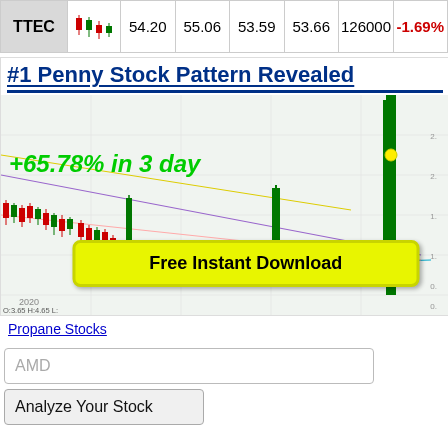| Symbol | Chart | Price | Open | Low | Close | Volume | Change |
| --- | --- | --- | --- | --- | --- | --- | --- |
| TTEC | (mini chart) | 54.20 | 55.06 | 53.59 | 53.66 | 126000 | -1.69% |
#1 Penny Stock Pattern Revealed
[Figure (screenshot): Stock chart advertisement showing +65.78% in 3 day gain with a candlestick chart and a 'Free Instant Download' yellow button overlay. Chart shows penny stock price action from 2020 with dramatic spike upward.]
Propane Stocks
AMD
Analyze Your Stock